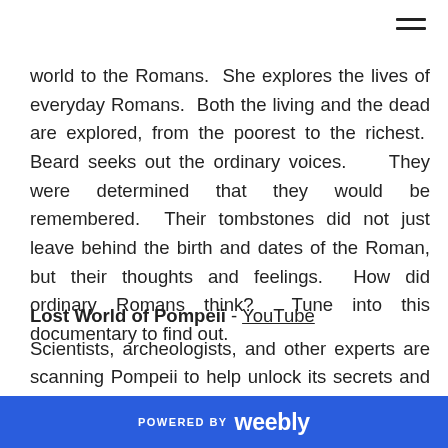world to the Romans.  She explores the lives of everyday Romans.  Both the living and the dead are explored, from the poorest to the richest.  Beard seeks out the ordinary voices.    They were determined that they would be remembered.  Their tombstones did not just leave behind the birth and dates of the Roman, but their thoughts and feelings.  How did ordinary Romans think?  Tune into this documentary to find out.
Lost World of Pompeii - YouTube
Scientists, archeologists, and other experts are scanning Pompeii to help unlock its secrets and to help preserve it for the future.  Pompeii is falling apart due to the tourists
POWERED BY weebly